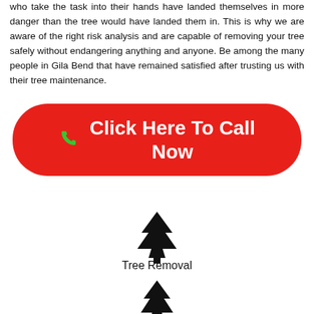who take the task into their hands have landed themselves in more danger than the tree would have landed them in. This is why we are aware of the right risk analysis and are capable of removing your tree safely without endangering anything and anyone. Be among the many people in Gila Bend that have remained satisfied after trusting us with their tree maintenance.
[Figure (other): Red rounded button with green phone icon and white text reading 'Click Here To Call Now']
[Figure (illustration): Black tree/evergreen icon]
Tree Removal
[Figure (illustration): Black tree/evergreen icon (smaller, partially visible)]